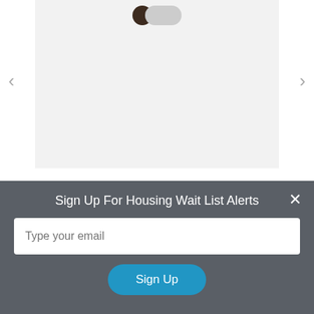[Figure (screenshot): Carousel image area with a dark toggle/switch icon at top center, left and right navigation arrows, and a light gray image placeholder background]
Grant Housing Authority
300 Warren Avenue
Grant, Nebraska 69140
Grant Housing Authority manages the following
Sign Up For Housing Wait List Alerts
Type your email
Sign Up